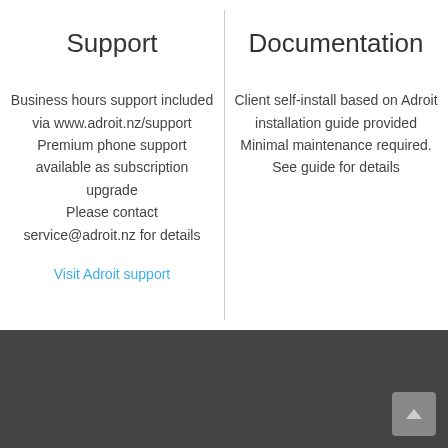Support
Business hours support included via www.adroit.nz/support Premium phone support available as subscription upgrade Please contact service@adroit.nz for details
Visit Adroit support
Documentation
Client self-install based on Adroit installation guide provided Minimal maintenance required. See guide for details